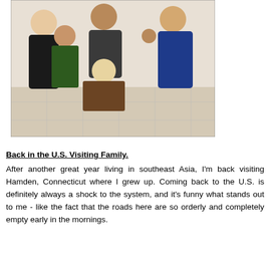[Figure (photo): Group photo of five people posing together indoors on a tiled floor. Four people are standing and one person is crouching down in the middle at the front. They appear to be in a casual, fun pose.]
Back in the U.S. Visiting Family.
After another great year living in southeast Asia, I'm back visiting Hamden, Connecticut where I grew up.  Coming back to the U.S. is definitely always a shock to the system, and it's funny what stands out to me - like the fact that the roads here are so orderly and completely empty early in the mornings.